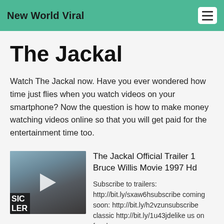New World Viral
The Jackal
Watch The Jackal now. Have you ever wondered how time just flies when you watch videos on your smartphone? Now the question is how to make money watching videos online so that you will get paid for the entertainment time too.
[Figure (screenshot): Thumbnail image of a man standing in front of a glass building, with a play button overlay. Lower-left shows partial text 'SIC' and 'LER' in white on dark background.]
The Jackal Official Trailer 1 Bruce Willis Movie 1997 Hd
Subscribe to trailers: http://bit.ly/sxaw6hsubscribe coming soon: http://bit.ly/h2vzunsubscribe classic http://bit.ly/1u43jdelike us on faceb...